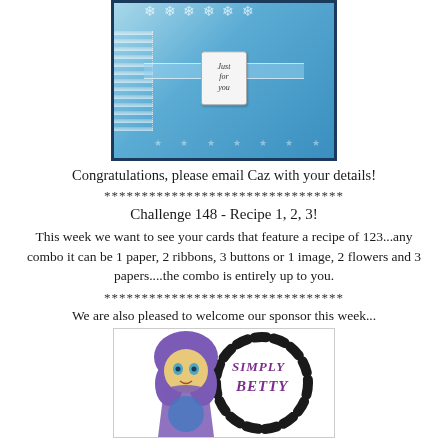[Figure (photo): A handmade craft card with blue background, lace trim, ribbon, and a small tag reading 'Just for you']
Congratulations, please email Caz with your details!
********************************
Challenge 148 - Recipe 1, 2, 3!
This week we want to see your cards that feature a recipe of 123...any combo it can be 1 paper, 2 ribbons, 3 buttons or 1 image, 2 flowers and 3 papers....the combo is entirely up to you.
********************************
We are also pleased to welcome our sponsor this week...
[Figure (logo): Simply Betty logo with a cartoon girl character with purple hair and a circular border with striped pattern]